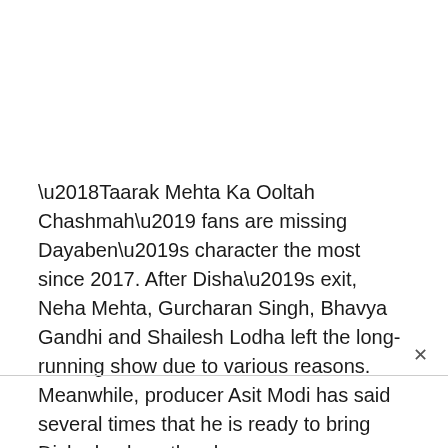‘Taarak Mehta Ka Ooltah Chashmah’ fans are missing Dayaben’s character the most since 2017. After Disha’s exit, Neha Mehta, Gurcharan Singh, Bhavya Gandhi and Shailesh Lodha left the long-running show due to various reasons. Meanwhile, producer Asit Modi has said several times that he is ready to bring Disha back on the show.